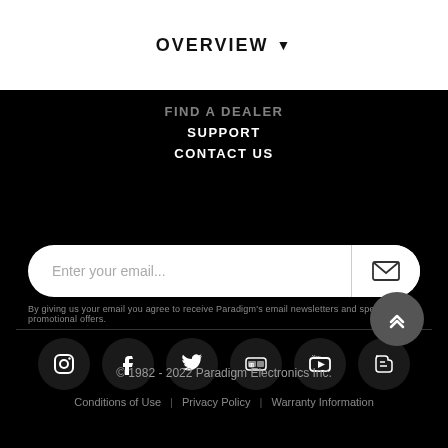OVERVIEW ▼
FIND A DEALER
SUPPORT
CONTACT US
Enter your email...
By giving us your email you agree to receive Paradigm's email newsletters and special promotional offers.
[Figure (illustration): Social media icons row: Instagram, Facebook, Twitter, Flickr, YouTube, Blogger — each in a dark circular button]
© 1982 - 2022 Paradigm Electronics Inc.
Conditions of Use | Privacy Policy | Warranty Information